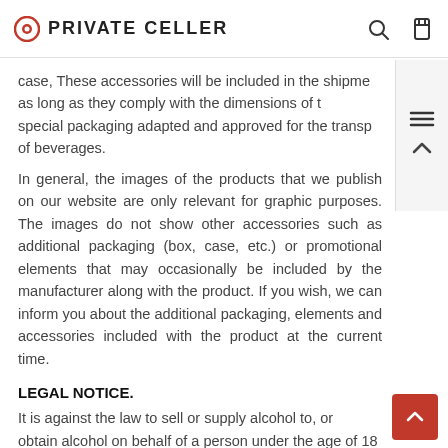PRIVATE CELLER
case, These accessories will be included in the shipment as long as they comply with the dimensions of the special packaging adapted and approved for the transport of beverages.
In general, the images of the products that we publish on our website are only relevant for graphic purposes. The images do not show other accessories such as additional packaging (box, case, etc.) or promotional elements that may occasionally be included by the manufacturer along with the product. If you wish, we can inform you about the additional packaging, elements and accessories included with the product at the current time.
LEGAL NOTICE.
It is against the law to sell or supply alcohol to, or obtain alcohol on behalf of a person under the age of 18